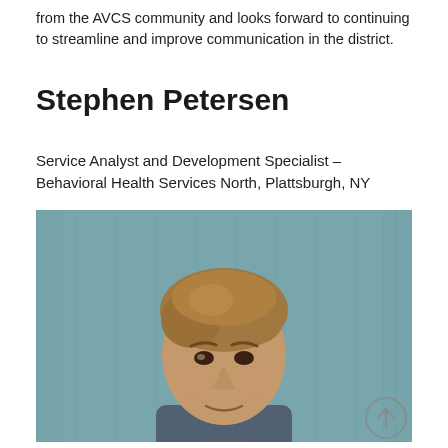from the AVCS community and looks forward to continuing to streamline and improve communication in the district.
Stephen Petersen
Service Analyst and Development Specialist – Behavioral Health Services North, Plattsburgh, NY
[Figure (photo): Headshot photo of Stephen Petersen, a middle-aged man with light brown hair, smiling slightly, photographed in front of a teal/grey wooden panel background.]